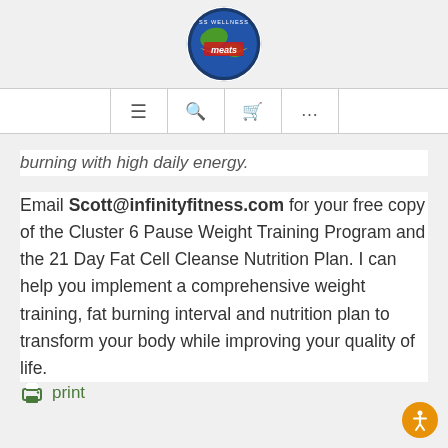SS Wellness Meats logo and navigation bar
burning with high daily energy.
Email Scott@infinityfitness.com for your free copy of the Cluster 6 Pause Weight Training Program and the 21 Day Fat Cell Cleanse Nutrition Plan. I can help you implement a comprehensive weight training, fat burning interval and nutrition plan to transform your body while improving your quality of life.
print